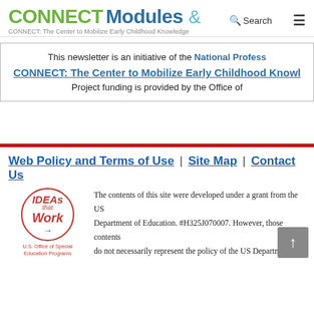CONNECT Modules & Search — CONNECT: The Center to Mobilize Early Childhood Knowledge
This newsletter is an initiative of the National Profess...
CONNECT: The Center to Mobilize Early Childhood Knowl...
Project funding is provided by the Office of...
Web Policy and Terms of Use | Site Map | Contact Us
[Figure (logo): IDEAs that Work — U.S. Office of Special Education Programs logo]
The contents of this site were developed under a grant from the US Department of Education. #H325J070007. However, those contents do not necessarily represent the policy of the US Department of